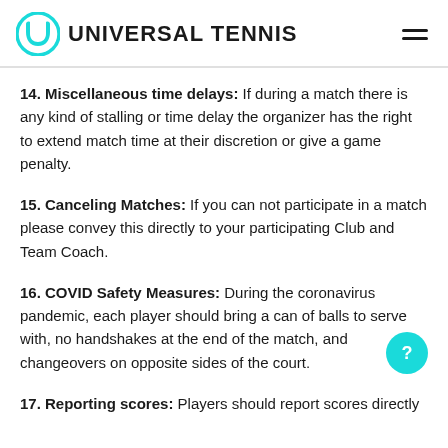UNIVERSAL TENNIS
14. Miscellaneous time delays: If during a match there is any kind of stalling or time delay the organizer has the right to extend match time at their discretion or give a game penalty.
15. Canceling Matches: If you can not participate in a match please convey this directly to your participating Club and Team Coach.
16. COVID Safety Measures: During the coronavirus pandemic, each player should bring a can of balls to serve with, no handshakes at the end of the match, and changeovers on opposite sides of the court.
17. Reporting scores: Players should report scores directly